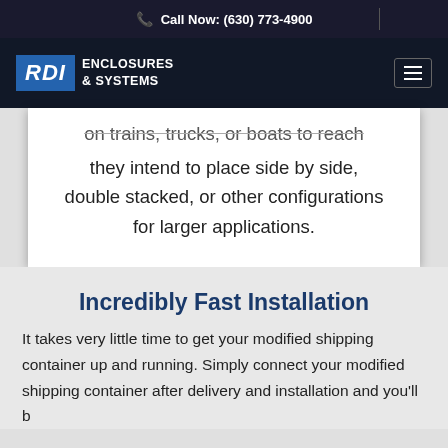Call Now: (630) 773-4900
[Figure (logo): RDI Enclosures & Systems logo with hamburger menu icon on dark navigation bar]
on trains, trucks, or boats to reach they intend to place side by side, double stacked, or other configurations for larger applications.
Incredibly Fast Installation
It takes very little time to get your modified shipping container up and running. Simply connect your modified shipping container after delivery and installation and you'll b